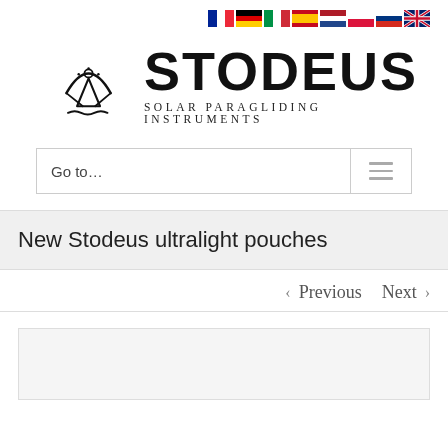[Figure (logo): Stodeus Solar Paragliding Instruments logo with paraglider icon and country flags (French, German, Italian, Spanish, Dutch, Polish, Russian, British)]
Go to...
New Stodeus ultralight pouches
< Previous   Next >
[Figure (photo): Placeholder image box at bottom of page]